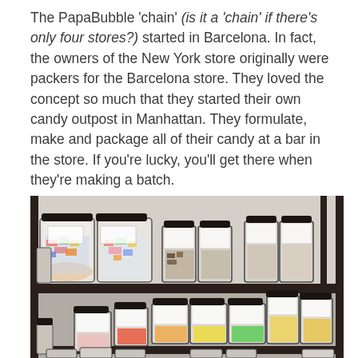The PapaBubble 'chain' (is it a 'chain' if there's only four stores?) started in Barcelona. In fact, the owners of the New York store originally were packers for the Barcelona store. They loved the concept so much that they started their own candy outpost in Manhattan. They formulate, make and package all of their candy at a bar in the store. If you're lucky, you'll get there when they're making a batch.
[Figure (photo): Photo of shelves filled with jars of colorful candy at PapaBubble store. Multiple rows of clear jars with black lids, containing various brightly colored candies including mixed colors, yellows, greens, oranges, reds, and multicolored sweets on dark shelving units against a light wall.]